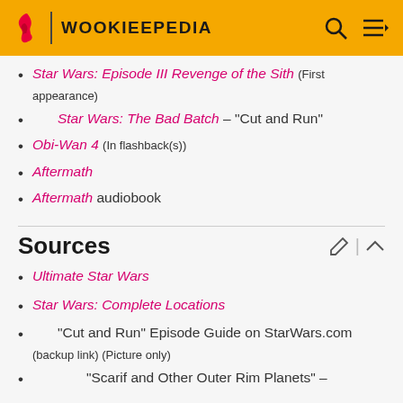WOOKIEEPEDIA
Star Wars: Episode III Revenge of the Sith (First appearance)
Star Wars: The Bad Batch – "Cut and Run"
Obi-Wan 4 (In flashback(s))
Aftermath
Aftermath audiobook
Sources
Ultimate Star Wars
Star Wars: Complete Locations
"Cut and Run" Episode Guide on StarWars.com (backup link) (Picture only)
"Scarif and Other Outer Rim Planets" –